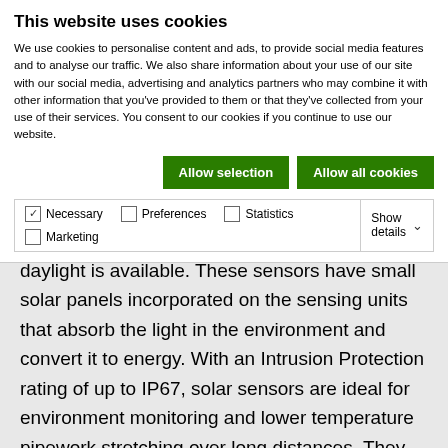This website uses cookies
We use cookies to personalise content and ads, to provide social media features and to analyse our traffic. We also share information about your use of our site with our social media, advertising and analytics partners who may combine it with other information that you've provided to them or that they've collected from your use of their services. You consent to our cookies if you continue to use our website.
Allow selection | Allow all cookies
✓ Necessary  □ Preferences  □ Statistics  □ Marketing  Show details ∨
daylight is available. These sensors have small solar panels incorporated on the sensing units that absorb the light in the environment and convert it to energy. With an Intrusion Protection rating of up to IP67, solar sensors are ideal for environment monitoring and lower temperature pipework stretching over long distances. They are also ideal in hard-to-reach locations, like chimney stacks, where the environment is optimal for this type of energy source for the